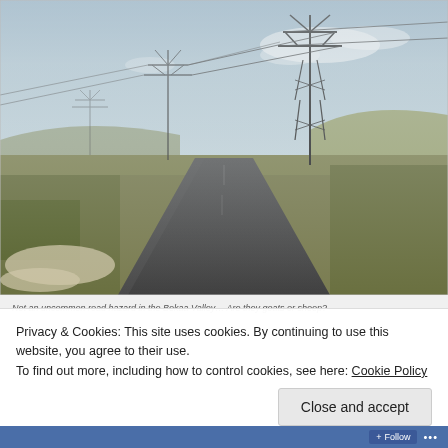[Figure (photo): A straight road stretching into the distance across a flat, arid landscape in the Bekaa Valley. Several large electrical transmission towers/pylons line both sides of the road. The sky is hazy blue with some clouds. Low scrubby vegetation borders the road. Rocky hills visible on the right horizon.]
Not an uncommon road hazard in the Bekaa Valley… Are they goats or sheep?
Privacy & Cookies: This site uses cookies. By continuing to use this website, you agree to their use.
To find out more, including how to control cookies, see here: Cookie Policy